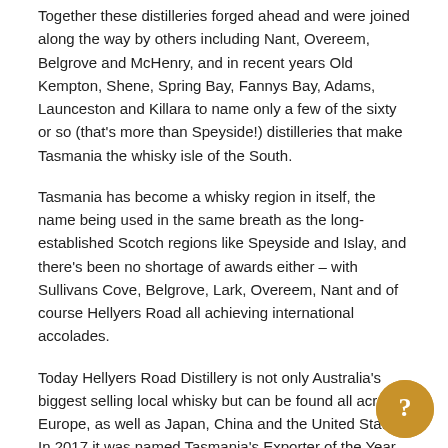Together these distilleries forged ahead and were joined along the way by others including Nant, Overeem, Belgrove and McHenry, and in recent years Old Kempton, Shene, Spring Bay, Fannys Bay, Adams, Launceston and Killara to name only a few of the sixty or so (that's more than Speyside!) distilleries that make Tasmania the whisky isle of the South.
Tasmania has become a whisky region in itself, the name being used in the same breath as the long-established Scotch regions like Speyside and Islay, and there's been no shortage of awards either – with Sullivans Cove, Belgrove, Lark, Overeem, Nant and of course Hellyers Road all achieving international accolades.
Today Hellyers Road Distillery is not only Australia's biggest selling local whisky but can be found all across Europe, as well as Japan, China and the United States. In 2017 it was named Tasmania's Exporter of the Year.
Of course, as a fledgling industry, the recognition that comes from winning major international awards is a massive boost and Hellyers Road is no stranger to the podium. Awards include being named Australia's Best Whisky in 2010 by the Malt Whisky Society of Australia, Best New-World Whisky at Whisky Live Paris in 2013 while